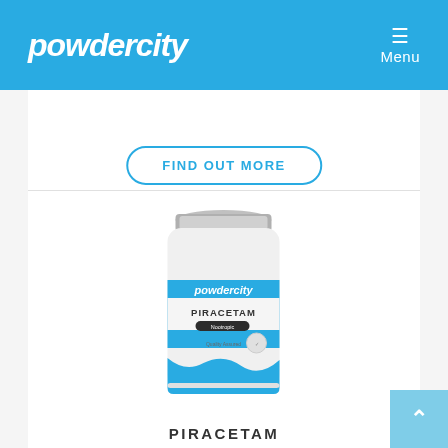powdercity   Menu
FIND OUT MORE
[Figure (photo): Powder City Piracetam supplement bottle with blue label on white background]
PIRACETAM
[Figure (donut-chart): Partial donut chart visible at bottom of page, grey and blue colors]